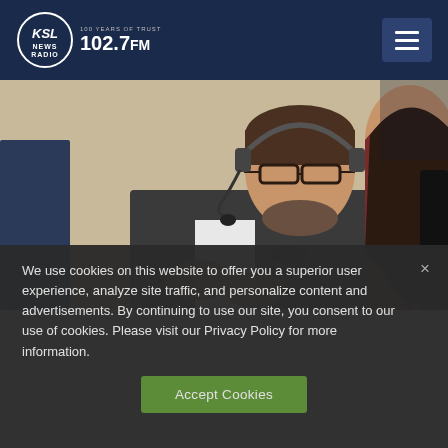KSL NewsRadio 102.7FM — 100 Years of Trust
[Figure (photo): A man wearing glasses and a headset microphone speaking at a broadcast desk, with a woman visible in the foreground from behind. He is wearing a Nike jacket and appears to be gesturing with his hands.]
We use cookies on this website to offer you a superior user experience, analyze site traffic, and personalize content and advertisements. By continuing to use our site, you consent to our use of cookies. Please visit our Privacy Policy for more information.
Accept Cookies